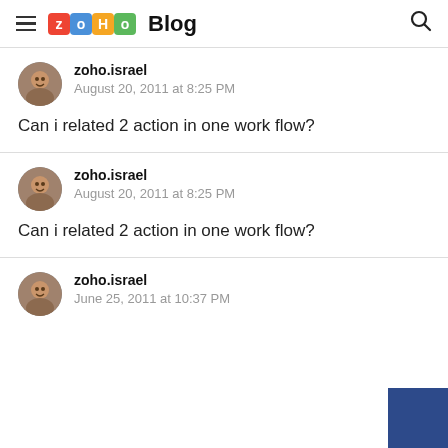Zoho Blog
zoho.israel
August 20, 2011 at 8:25 PM
Can i related 2 action in one work flow?
zoho.israel
August 20, 2011 at 8:25 PM
Can i related 2 action in one work flow?
zoho.israel
June 25, 2011 at 10:37 PM